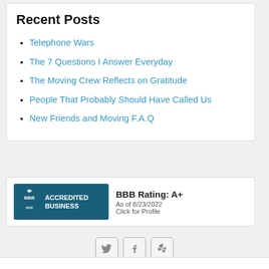Recent Posts
Telephone Wars
The 7 Questions I Answer Everyday
The Moving Crew Reflects on Gratitude
People That Probably Should Have Called Us
New Friends and Moving F.A.Q
[Figure (logo): BBB Accredited Business badge with BBB Rating: A+, As of 8/23/2022, Click for Profile]
[Figure (other): Social media icons: Twitter, Facebook, Yelp]